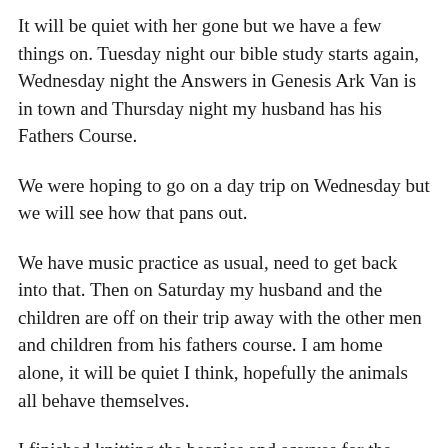It will be quiet with her gone but we have a few things on. Tuesday night our bible study starts again, Wednesday night the Answers in Genesis Ark Van is in town and Thursday night my husband has his Fathers Course.
We were hoping to go on a day trip on Wednesday but we will see how that pans out.
We have music practice as usual, need to get back into that. Then on Saturday my husband and the children are off on their trip away with the other men and children from his fathers course. I am home alone, it will be quiet I think, hopefully the animals all behave themselves.
I finished knitting the beanies and scarves for the grandchildren, now I am back on my son's jumper and I would like to finish it in the next week or so, but we'll see.
Lots of talk here on our spring garden, I'm wondering what